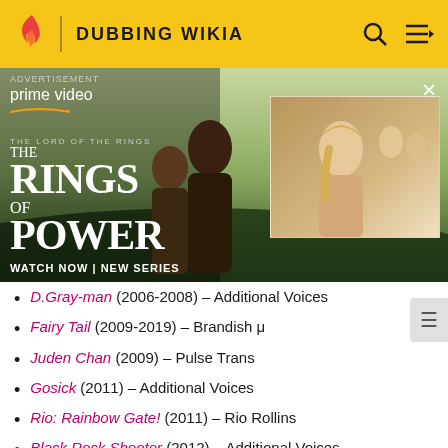DUBBING WIKIA
[Figure (photo): Amazon Prime Video advertisement for The Lord of the Rings: The Rings of Power. Shows two characters from the series on the left and a blonde woman on the right thumbnail. Text reads: THE LORD OF THE RINGS THE RINGS OF POWER WATCH NOW | NEW SERIES]
D.Gray-man (2006-2008) – Additional Voices
Fairy Tail (2009-2019) – Brandish μ
Juden Chan (2009) – Pulse Trans
Gosick (2011) – Additional Voices
Rio: Rainbow Gate! (2011) – Rio Rollins
Black Rock Shooter (2012) – Additional Voices
The Prince of Tennis II (2012-2015) – Additional Voices
Attack on Titan (2013-present) – Pieck, Cart Titan (ep. 52), Additional Voices